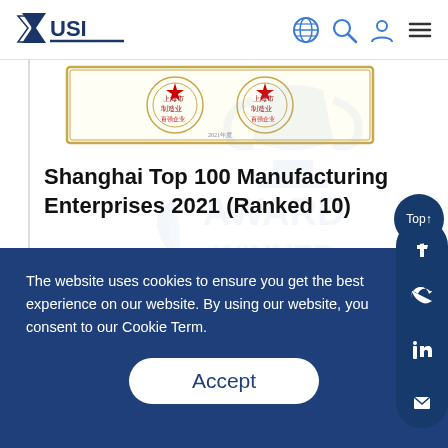[Figure (logo): USI company logo with stylized arrow and text]
[Figure (photo): Award certificate image with Chinese text and gold decorative border, showing two red stamp/seal marks]
Shanghai Top 100 Manufacturing Enterprises 2021 (Ranked 10)
Awarded by
Shanghai Enterprise Commission
The website uses cookies to ensure you get the best experience on our website. By using our website, you consent to our Cookie Term.
Accept